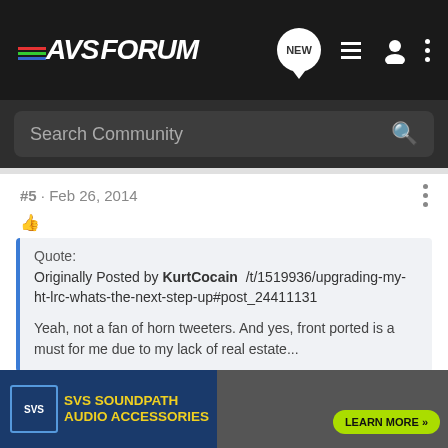AVS FORUM
Search Community
#5 · Feb 26, 2014
Quote:
Originally Posted by KurtCocain /t/1519936/upgrading-my-ht-lrc-whats-the-next-step-up#post_24411131

Yeah, not a fan of horn tweeters. And yes, front ported is a must for me due to my lack of real estate...
I'm pretty sure it's a dome tweeter with a wave guide, so it doesn't horn tweeters
[Figure (other): SVS SoundPath Audio Accessories advertisement banner with Learn More button]